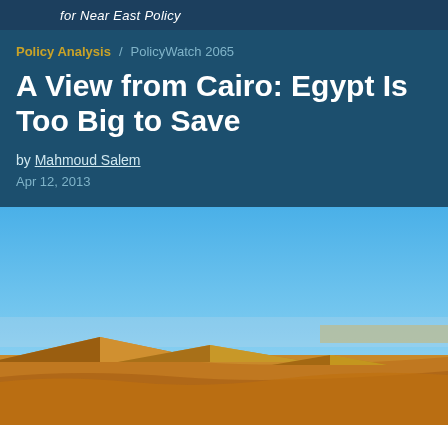for Near East Policy
Policy Analysis / PolicyWatch 2065
A View from Cairo: Egypt Is Too Big to Save
by Mahmoud Salem
Apr 12, 2013
[Figure (photo): Photograph of the Pyramids of Giza against a blue sky with sandy desert in the foreground]